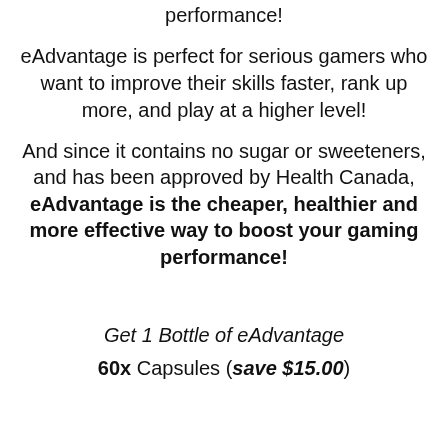performance!
eAdvantage is perfect for serious gamers who want to improve their skills faster, rank up more, and play at a higher level!
And since it contains no sugar or sweeteners, and has been approved by Health Canada, eAdvantage is the cheaper, healthier and more effective way to boost your gaming performance!
Get 1 Bottle of eAdvantage
60x Capsules (save $15.00)